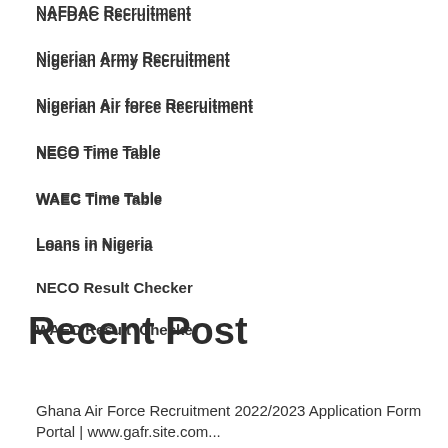NAFDAC Recruitment
Nigerian Army Recruitment
Nigerian Air force Recruitment
NECO Time Table
WAEC Time Table
Loans in Nigeria
NECO Result Checker
WAEC Result  Checker
Recent Post
Ghana Air Force Recruitment 2022/2023 Application Form Portal | www.gafr.site.com...